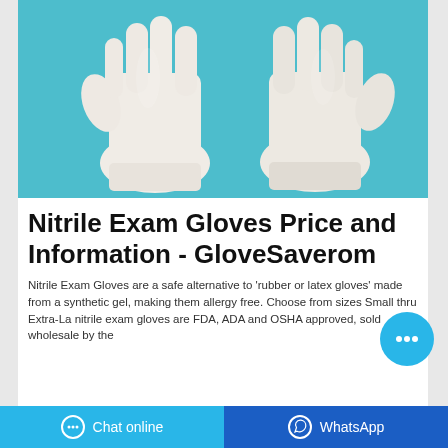[Figure (photo): Two white nitrile exam gloves laid flat on a teal/cyan background]
Nitrile Exam Gloves Price and Information - GloveSaverom
Nitrile Exam Gloves are a safe alternative to 'rubber or latex gloves' made from a synthetic gel, making them allergy free. Choose from sizes Small thru Extra-La... nitrile exam gloves are FDA, ADA and OSHA approved, sold wholesale by the...
Chat online   WhatsApp